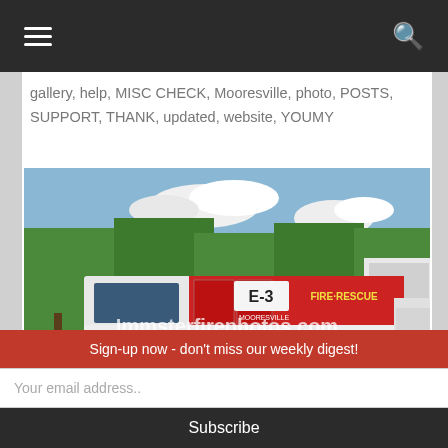Navigation bar with hamburger menu and search icon
gallery, help, MISC CHECK, Mooresville, photo, POSTS, SUPPORT, THANK, updated, website, YOUMY
[Figure (photo): A red Mooresville Fire-Rescue Engine E-3 fire truck parked outdoors with trees and blue sky in background. Watermark reads 'Immsterfirephotos.com']
Kevin Imm updated gallery MOORESVILLE FD MISC
Sign-up now - don't miss our weekly digest!
Your email address..
Subscribe